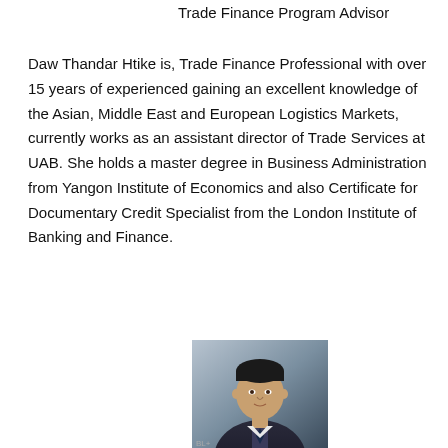Trade Finance Program Advisor
Daw Thandar Htike is, Trade Finance Professional with over 15 years of experienced gaining an excellent knowledge of the Asian, Middle East and European Logistics Markets, currently works as an assistant director of Trade Services at UAB. She holds a master degree in Business Administration from Yangon Institute of Economics and also Certificate for Documentary Credit Specialist from the London Institute of Banking and Finance.
[Figure (photo): Professional headshot photo of a man in a dark suit jacket, photographed against a grey/blue gradient background]